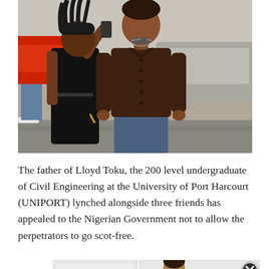[Figure (photo): Two people posing outdoors. A woman in a black dress with braided hair is taking a selfie while linking arms with a man in a dark brown long-sleeve shirt wearing sunglasses around his neck. A red car and a silver car are visible in the background.]
The father of Lloyd Toku, the 200 level undergraduate of Civil Engineering at the University of Port Harcourt (UNIPORT) lynched alongside three friends has appealed to the Nigerian Government not to allow the perpetrators to go scot-free.
[Figure (photo): Partial advertisement image showing a man in a dark sweater in a modern white kitchen interior. A close (X) button is visible in the upper right.]